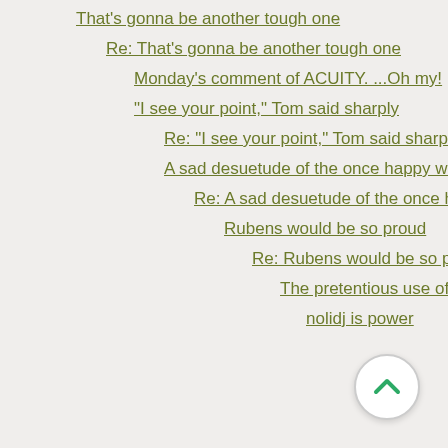That's gonna be another tough one
Re: That's gonna be another tough one
Monday's comment of ACUITY. ...Oh my!
"I see your point," Tom said sharply
Re: "I see your point," Tom said sharply
A sad desuetude of the once happy word
Re: A sad desuetude of the once happ
Rubens would be so proud
Re: Rubens would be so proud
The pretentious use of the word
nolidj is power